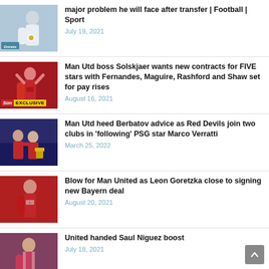major problem he will face after transfer | Football | Sport
July 19, 2021
Man Utd boss Solskjaer wants new contracts for FIVE stars with Fernandes, Maguire, Rashford and Shaw set for pay rises
August 16, 2021
Man Utd heed Berbatov advice as Red Devils join two clubs in 'following' PSG star Marco Verratti
March 25, 2022
Blow for Man United as Leon Goretzka close to signing new Bayern deal
August 20, 2021
United handed Saul Niguez boost
July 18, 2021